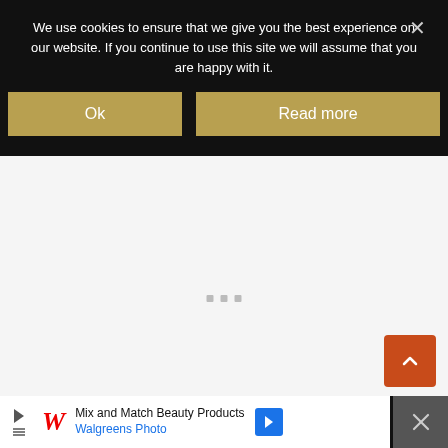We use cookies to ensure that we give you the best experience on our website. If you continue to use this site we will assume that you are happy with it.
[Figure (screenshot): Cookie consent banner with Ok and Read more buttons on dark background, followed by a webpage showing 'I Found You – Lisa Jewell' title, scroll-up button, heart/favourite button, share button, What's Next section, and a Walgreens advertisement bar at the bottom.]